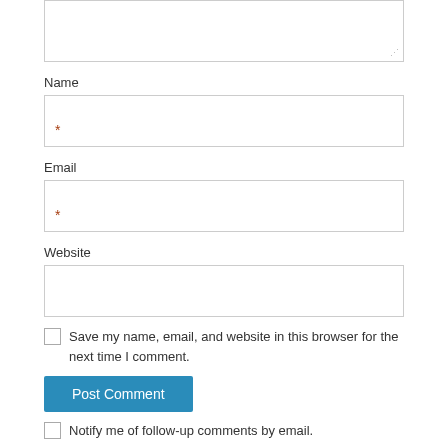[Figure (screenshot): Partial textarea input box at top of page]
Name
[Figure (screenshot): Name input field with red asterisk required marker]
Email
[Figure (screenshot): Email input field with red asterisk required marker]
Website
[Figure (screenshot): Website input field]
Save my name, email, and website in this browser for the next time I comment.
Post Comment
Notify me of follow-up comments by email.